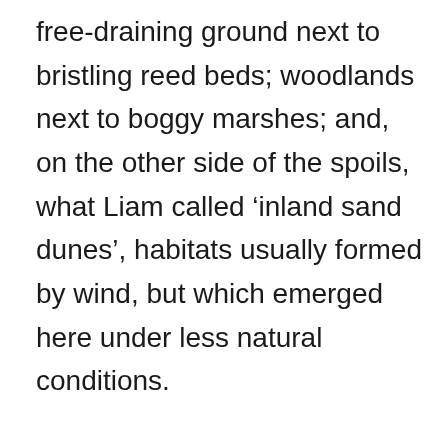free-draining ground next to bristling reed beds; woodlands next to boggy marshes; and, on the other side of the spoils, what Liam called ‘inland sand dunes’, habitats usually formed by wind, but which emerged here under less natural conditions.

The habitats were home to a bewildering diversity of plants. On some slopes we found carline thistles, which thrive in calcareous soils, and the low-lying fields